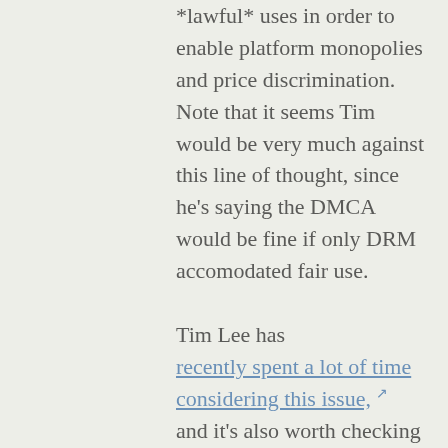*lawful* uses in order to enable platform monopolies and price discrimination. Note that it seems Tim would be very much against this line of thought, since he's saying the DMCA would be fine if only DRM accomodated fair use.

Tim Lee has recently spent a lot of time considering this issue, and it's also worth checking out Pam Samuelson and Suzanne Scotchmer's article related to this subject from 5 years ago. While I'm in Lee's camp here, there are some decent arguments on the other side. For the moment, all I'd like to say is this: I would love it if the policy discussion around the DMCA merely focused on this point.  Enough about